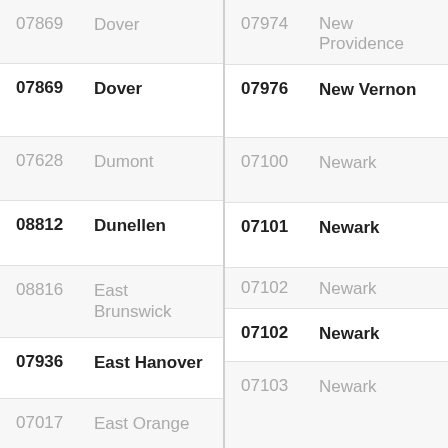| ZIP | City |
| --- | --- |
| 07869 | Dover |
| 07869 | Dover |
| 07628 | Dumont |
| 08812 | Dunellen |
| 08816 | East Brunswick |
| 07936 | East Hanover |
| 07017 | East Orange |
| ZIP | City |
| --- | --- |
| 07974 | New Providence |
| 07976 | New Vernon |
| 07100 | Newark |
| 07101 | Newark |
| 07102 | Newark |
| 07102 | Newark |
| 07103 | Newark |